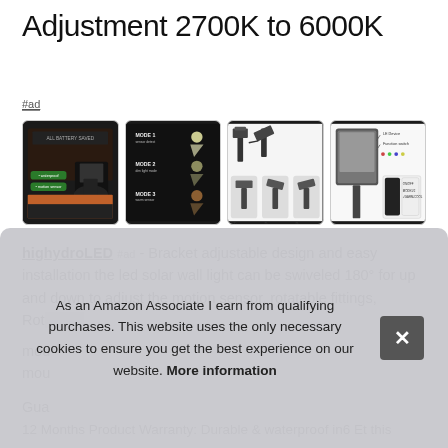Adjustment 2700K to 6000K
#ad
[Figure (photo): Four product thumbnail images of a solar LED wall light showing different modes, installation angles, and product diagrams/specifications]
highydroLED #ad - Bracket adjustable design and easy installation the led solar wall light can be swiveled 180° for up and down to adjust the motion sensor, rotatable fittings, Rota… mou… mou…
Gua…
12 Months Product Warranty: Durable & waterproof in6 Et this
As an Amazon Associate I earn from qualifying purchases. This website uses the only necessary cookies to ensure you get the best experience on our website. More information